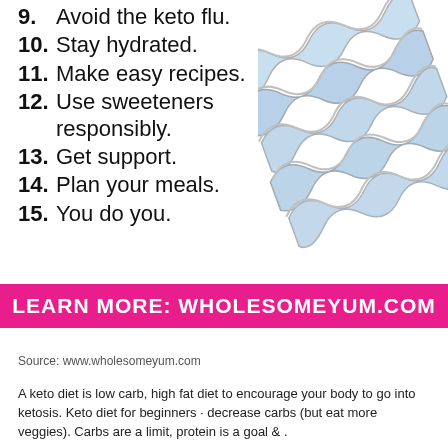9. Avoid the keto flu.
10. Stay hydrated.
11. Make easy recipes.
12. Use sweeteners responsibly.
13. Get support.
14. Plan your meals.
15. You do you.
[Figure (illustration): Decorative illustration of bacon strips in light blue and grey tones, positioned in upper right corner]
LEARN MORE: WHOLESOMEYUM.COM
Source: www.wholesomeyum.com
A keto diet is low carb, high fat diet to encourage your body to go into ketosis. Keto diet for beginners · decrease carbs (but eat more veggies). Carbs are a limit, protein is a goal & .